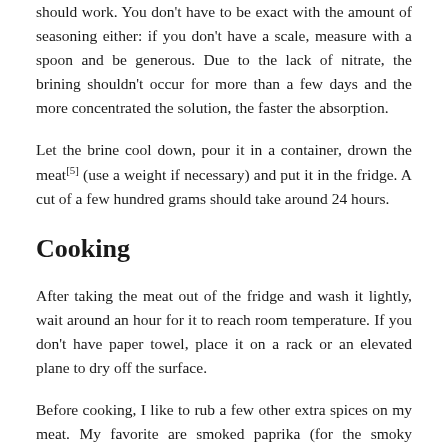should work. You don't have to be exact with the amount of seasoning either: if you don't have a scale, measure with a spoon and be generous. Due to the lack of nitrate, the brining shouldn't occur for more than a few days and the more concentrated the solution, the faster the absorption.
Let the brine cool down, pour it in a container, drown the meat[5] (use a weight if necessary) and put it in the fridge. A cut of a few hundred grams should take around 24 hours.
Cooking
After taking the meat out of the fridge and wash it lightly, wait around an hour for it to reach room temperature. If you don't have paper towel, place it on a rack or an elevated plane to dry off the surface.
Before cooking, I like to rub a few other extra spices on my meat. My favorite are smoked paprika (for the smoky flavor), garlic powder, freshly grounded black pepper and perhaps some nutmeg.